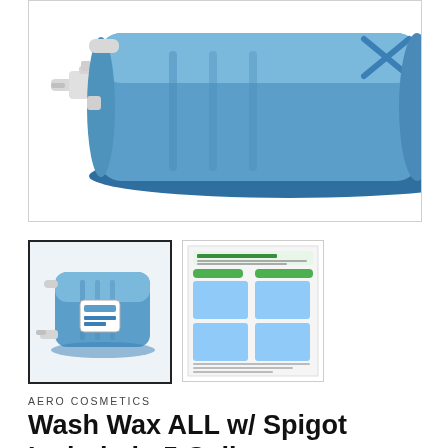[Figure (photo): Large blue 5-gallon jug with white spigot attached to the left side, shown at an angle against a white background. The container has X-pattern textured top and blue ridged sides.]
[Figure (photo): Thumbnail of the blue 5-gallon Wash Wax ALL jug with spigot, with a white product label on the front, shown against a light background.]
[Figure (photo): Thumbnail of product usage instruction sheet labeled 'All Surface Non-stick Cleaner' with instructional photos and green/blue colored elements.]
AERO COSMETICS
Wash Wax ALL w/ Spigot Included - 5 Gallon
$139.95 USD